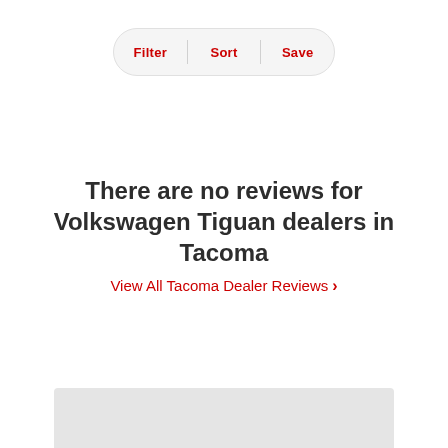Filter | Sort | Save
There are no reviews for Volkswagen Tiguan dealers in Tacoma
View All Tacoma Dealer Reviews >